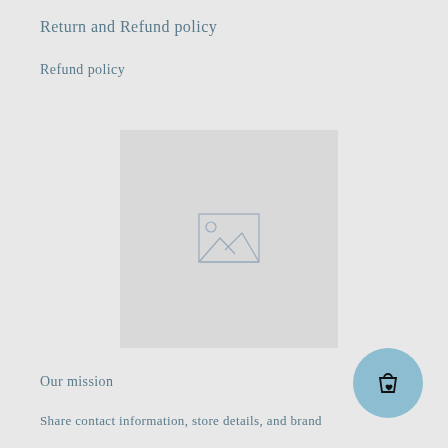Return and Refund policy
Refund policy
[Figure (illustration): Placeholder image icon showing a landscape picture frame with mountains and a sun, centered in a large light gray rectangle]
Our mission
Share contact information, store details, and brand